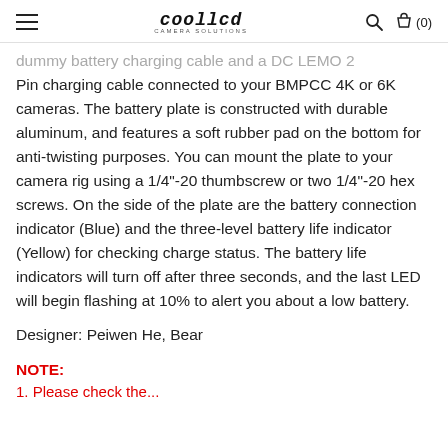coollcd
dummy battery charging cable and a DC LEMO 2 Pin charging cable connected to your BMPCC 4K or 6K cameras. The battery plate is constructed with durable aluminum, and features a soft rubber pad on the bottom for anti-twisting purposes. You can mount the plate to your camera rig using a 1/4"-20 thumbscrew or two 1/4"-20 hex screws. On the side of the plate are the battery connection indicator (Blue) and the three-level battery life indicator (Yellow) for checking charge status. The battery life indicators will turn off after three seconds, and the last LED will begin flashing at 10% to alert you about a low battery.
Designer: Peiwen He, Bear
NOTE:
1. Please check the...